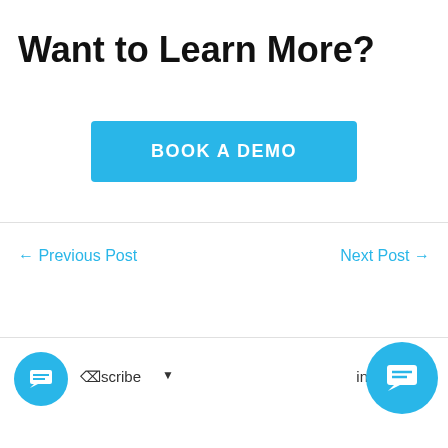Want to Learn More?
[Figure (other): Blue 'BOOK A DEMO' button centered on page]
← Previous Post
Next Post →
Subscribe dropdown and chat bubbles at bottom